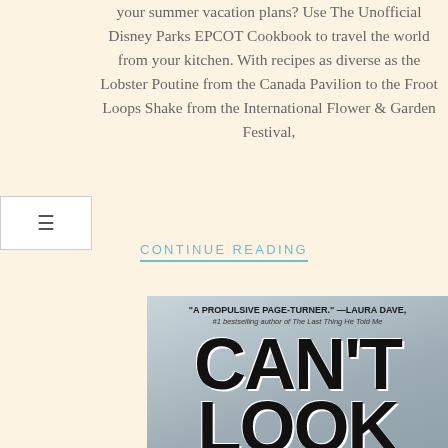your summer vacation plans? Use The Unofficial Disney Parks EPCOT Cookbook to travel the world from your kitchen. With recipes as diverse as the Lobster Poutine from the Canada Pavilion to the Froot Loops Shake from the International Flower & Garden Festival,
CONTINUE READING
[Figure (photo): Book cover of 'Can't Look' with blurb: 'A propulsive page-turner.' —Laura Dave, #1 bestselling author of The Last Thing He Told Me. Large bold handwritten-style text showing 'CAN'T' and 'LOOK' on a light blue-grey background.]